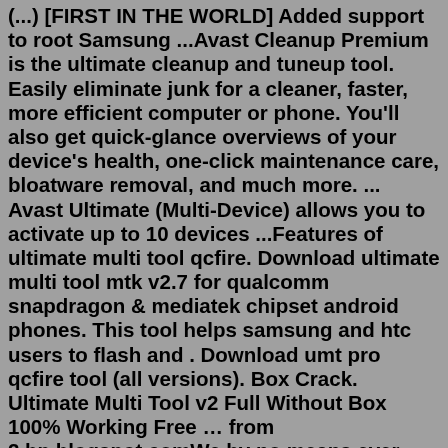(...) [FIRST IN THE WORLD] Added support to root Samsung ...Avast Cleanup Premium is the ultimate cleanup and tuneup tool. Easily eliminate junk for a cleaner, faster, more efficient computer or phone. You'll also get quick-glance overviews of your device's health, one-click maintenance care, bloatware removal, and much more. ... Avast Ultimate (Multi-Device) allows you to activate up to 10 devices ...Features of ultimate multi tool qcfire. Download ultimate multi tool mtk v2.7 for qualcomm snapdragon & mediatek chipset android phones. This tool helps samsung and htc users to flash and . Download umt pro qcfire tool (all versions). Box Crack. Ultimate Multi Tool v2 Full Without Box 100% Working Free … from 2.bp.blogspot.comWe by no means ever encrage to anyone to make use of break or fake UMT DONGLE Split GSM Sixth is v5.2 Ultimate Multi Device Without Package How to set up: Download, herb and run.exe document, (If your antivirus obstructing file, pause it or disabIe it for